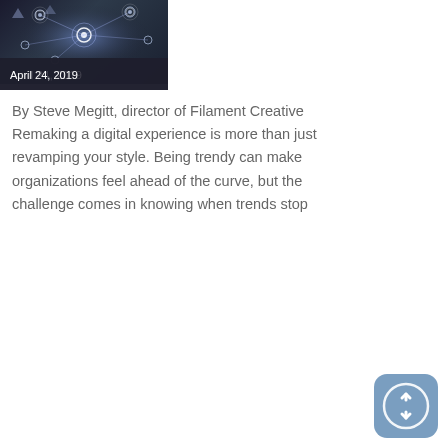[Figure (photo): Dark technology/network themed image with glowing connected nodes and icons on dark background]
April 24, 2019
By Steve Megitt, director of Filament Creative Remaking a digital experience is more than just revamping your style. Being trendy can make organizations feel ahead of the curve, but the challenge comes in knowing when trends stop
[Figure (logo): Scrollback or navigation icon — circular arrows on blue rounded square background]